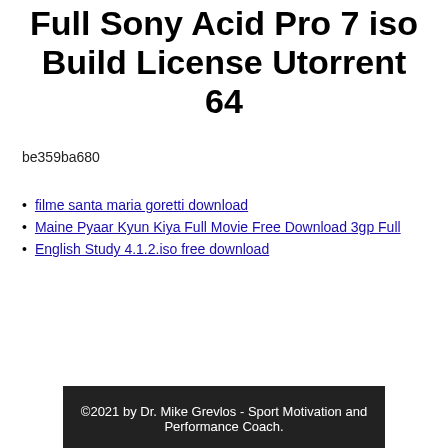Full Sony Acid Pro 7 iso Build License Utorrent 64
be359ba680
filme santa maria goretti download
Maine Pyaar Kyun Kiya Full Movie Free Download 3gp Full
English Study 4.1.2.iso free download
©2021 by Dr. Mike Grevlos - Sport Motivation and Performance Coach.